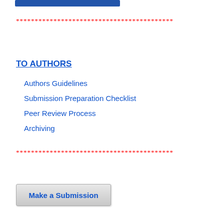[Figure (other): Blue banner/logo image at top]
******************************************
TO AUTHORS
Authors Guidelines
Submission Preparation Checklist
Peer Review Process
Archiving
******************************************
[Figure (other): Make a Submission button]